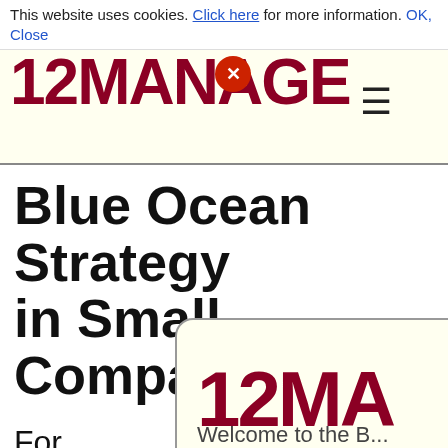This website uses cookies. Click here for more information. OK, Close
[Figure (logo): 12MANAGE logo in dark red/maroon bold font with hamburger menu icon]
Blue Ocean Strategy in Small Companies
For
bus
cur
sta
[Figure (logo): 12MA logo partial in dark red/maroon bold font on cream background popup card]